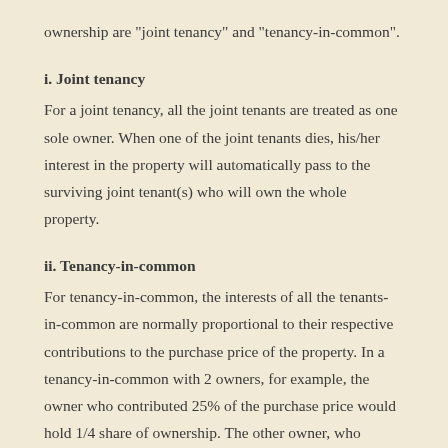ownership are "joint tenancy" and "tenancy-in-common".
i. Joint tenancy
For a joint tenancy, all the joint tenants are treated as one sole owner. When one of the joint tenants dies, his/her interest in the property will automatically pass to the surviving joint tenant(s) who will own the whole property.
ii. Tenancy-in-common
For tenancy-in-common, the interests of all the tenants-in-common are normally proportional to their respective contributions to the purchase price of the property. In a tenancy-in-common with 2 owners, for example, the owner who contributed 25% of the purchase price would hold 1/4 share of ownership. The other owner, who contributed 75% of the purchase price, would hold 3/4 share of ownership. When one of the tenants-in-common dies, his/her interest will form part of